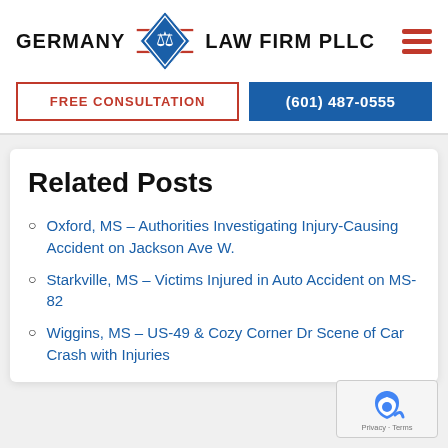[Figure (logo): Germany Law Firm PLLC logo with blue diamond scales of justice icon and red horizontal lines]
FREE CONSULTATION
(601) 487-0555
Related Posts
Oxford, MS - Authorities Investigating Injury-Causing Accident on Jackson Ave W.
Starkville, MS - Victims Injured in Auto Accident on MS-82
Wiggins, MS - US-49 & Cozy Corner Dr Scene of Car Crash with Injuries